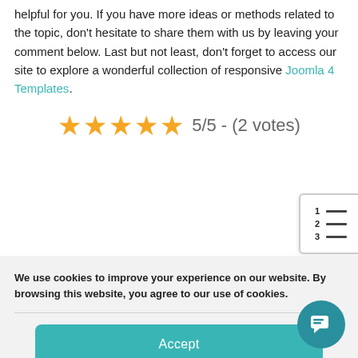helpful for you. If you have more ideas or methods related to the topic, don't hesitate to share them with us by leaving your comment below. Last but not least, don't forget to access our site to explore a wonderful collection of responsive Joomla 4 Templates.
5/5 - (2 votes)
[Figure (other): Table of contents widget icon with numbered list lines]
We use cookies to improve your experience on our website. By browsing this website, you agree to our use of cookies.
Accept
Cookie Policy